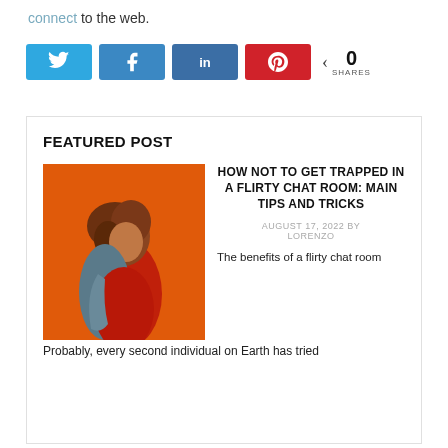connect to the web.
[Figure (infographic): Social sharing bar with Twitter, Facebook, LinkedIn, Pinterest buttons and a share count showing 0 SHARES]
FEATURED POST
[Figure (photo): Woman in red outfit against orange background]
HOW NOT TO GET TRAPPED IN A FLIRTY CHAT ROOM: MAIN TIPS AND TRICKS
AUGUST 17, 2022 BY LORENZO
The benefits of a flirty chat room Probably, every second individual on Earth has tried